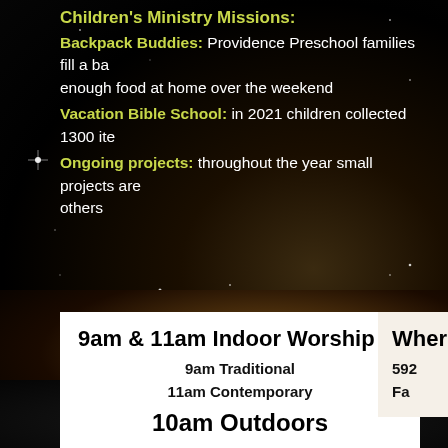Children's Ministry Missions:
Backpack Buddies: Providence Preschool families fill a backpack with enough food at home over the weekend
Vacation Bible School: in 2021 children collected 1300 items
Ongoing projects: throughout the year small projects are done for others
9am & 11am Indoor Worship
9am Traditional
11am Contemporary
10am Outdoors
Where
592
Fa